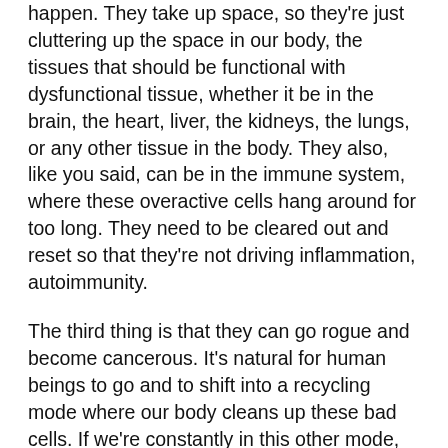happen. They take up space, so they're just cluttering up the space in our body, the tissues that should be functional with dysfunctional tissue, whether it be in the brain, the heart, liver, the kidneys, the lungs, or any other tissue in the body. They also, like you said, can be in the immune system, where these overactive cells hang around for too long. They need to be cleared out and reset so that they're not driving inflammation, autoimmunity.
The third thing is that they can go rogue and become cancerous. It's natural for human beings to go and to shift into a recycling mode where our body cleans up these bad cells. If we're constantly in this other mode, this stimulating growth, then we'll stimulate growth with all cells, including cells that can go rogue, which can lead to cancer. This is something that's important.